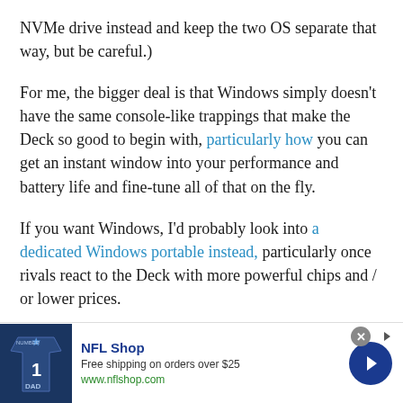NVMe drive instead and keep the two OS separate that way, but be careful.)
For me, the bigger deal is that Windows simply doesn't have the same console-like trappings that make the Deck so good to begin with, particularly how you can get an instant window into your performance and battery life and fine-tune all of that on the fly.
If you want Windows, I'd probably look into a dedicated Windows portable instead, particularly once rivals react to the Deck with more powerful chips and / or lower prices.
[Figure (other): Advertisement banner for NFL Shop: 'Free shipping on orders over $25', www.nflshop.com, with Dallas Cowboys jersey image and a blue arrow CTA button]